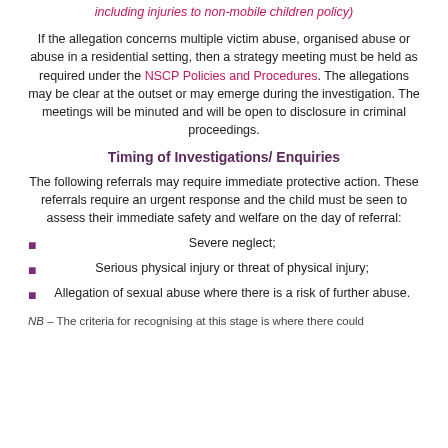including injuries to non-mobile children policy)
If the allegation concerns multiple victim abuse, organised abuse or abuse in a residential setting, then a strategy meeting must be held as required under the NSCP Policies and Procedures. The allegations may be clear at the outset or may emerge during the investigation. The meetings will be minuted and will be open to disclosure in criminal proceedings.
Timing of Investigations/ Enquiries
The following referrals may require immediate protective action. These referrals require an urgent response and the child must be seen to assess their immediate safety and welfare on the day of referral:
Severe neglect;
Serious physical injury or threat of physical injury;
Allegation of sexual abuse where there is a risk of further abuse.
NB – The criteria for recognising at this stage is where there could…